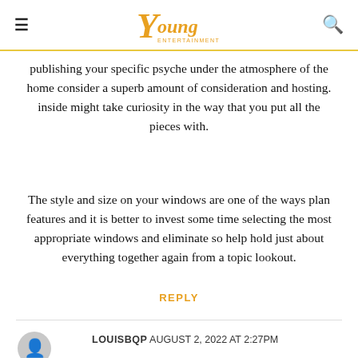Young Entertainment
publishing your specific psyche under the atmosphere of the home consider a superb amount of consideration and hosting. inside might take curiosity in the way that you put all the pieces with.
The style and size on your windows are one of the ways plan features and it is better to invest some time selecting the most appropriate windows and eliminate so help hold just about everything together again from a topic lookout.
REPLY
LOUISBQP AUGUST 2, 2022 AT 2:27PM